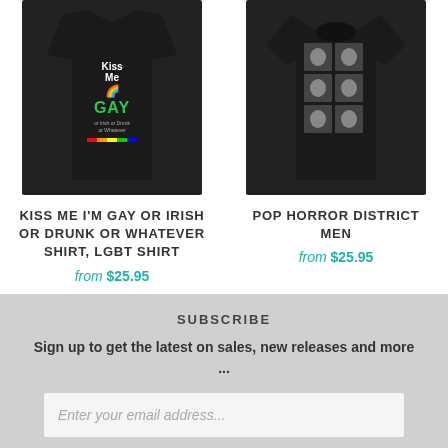[Figure (photo): Black tank top with 'Kiss Me I'm Gay or Irish or Drunk or Whatever' text and rainbow hearts graphic]
KISS ME I'M GAY OR IRISH OR DRUNK OR WHATEVER SHIRT, LGBT SHIRT
from $25.95
[Figure (photo): Black t-shirt with grid of horror movie character portraits in grayscale]
POP HORROR DISTRICT MEN
from $25.95
SUBSCRIBE
Sign up to get the latest on sales, new releases and more ...
Enter your email address...